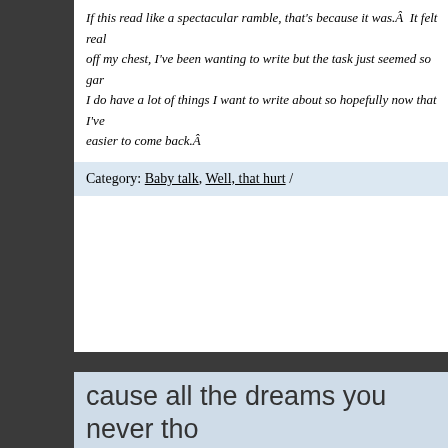If this read like a spectacular ramble, that's because it was.Â  It felt real off my chest, I've been wanting to write but the task just seemed so gar I do have a lot of things I want to write about so hopefully now that I've easier to come back.Â
Category: Baby talk, Well, that hurt /
cause all the dreams you never tho lose, get tossed along the way
the wingless one / February 2, 2012 / 4 comments
When I started writing on the internet twelve years ago (twelve years a didn't know.
I didn't know what the future would be like. I didn't know the things I wo couldn't imagine what anything beyond the next few weeks of my life w
And so, for years, I shared my place on the internet with far too many p discretion.Â  Hell, I had the damp link posted on my AIM profile for God